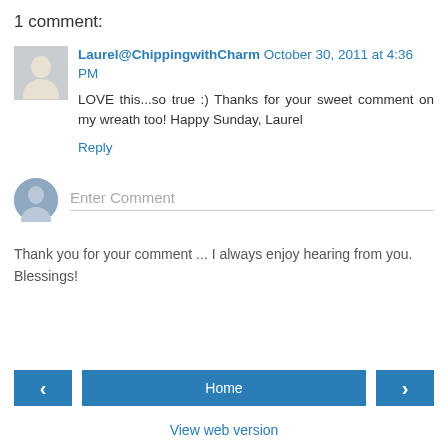1 comment:
Laurel@ChippingwithCharm October 30, 2011 at 4:36 PM
LOVE this...so true :) Thanks for your sweet comment on my wreath too! Happy Sunday, Laurel
Reply
Enter Comment
Thank you for your comment ... I always enjoy hearing from you.
Blessings!
‹
Home
›
View web version